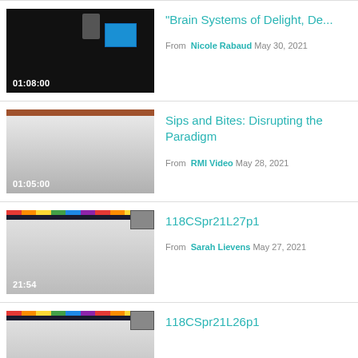[Figure (screenshot): Video thumbnail with black background, duration 01:08:00, small screen and person visible]
"Brain Systems of Delight, De...
From Nicole Rabaud May 30, 2021
[Figure (screenshot): Video thumbnail with brown top bar and gray gradient, duration 01:05:00]
Sips and Bites: Disrupting the Paradigm
From RMI Video May 28, 2021
[Figure (screenshot): Video thumbnail with dark top toolbar and gray gradient, duration 21:54]
118CSpr21L27p1
From Sarah Lievens May 27, 2021
[Figure (screenshot): Video thumbnail with dark top toolbar and gray gradient, duration 23:08]
118CSpr21L26p1